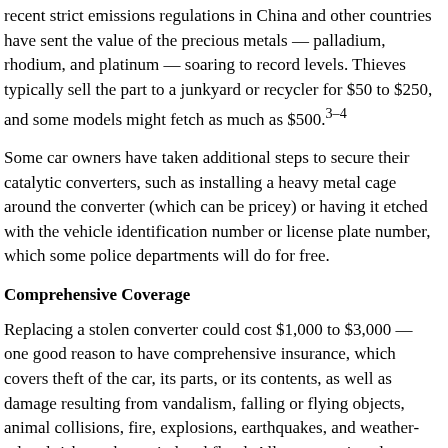recent strict emissions regulations in China and other countries have sent the value of the precious metals — palladium, rhodium, and platinum — soaring to record levels. Thieves typically sell the part to a junkyard or recycler for $50 to $250, and some models might fetch as much as $500.3–4
Some car owners have taken additional steps to secure their catalytic converters, such as installing a heavy metal cage around the converter (which can be pricey) or having it etched with the vehicle identification number or license plate number, which some police departments will do for free.
Comprehensive Coverage
Replacing a stolen converter could cost $1,000 to $3,000 — one good reason to have comprehensive insurance, which covers theft of the car, its parts, or its contents, as well as damage resulting from vandalism, falling or flying objects, animal collisions, fire, explosions, earthquakes, and weather-related risks such as wind and flood. All coverage is only up to policy limits.5
Along with catalytic converters, thieves who can't drive away the